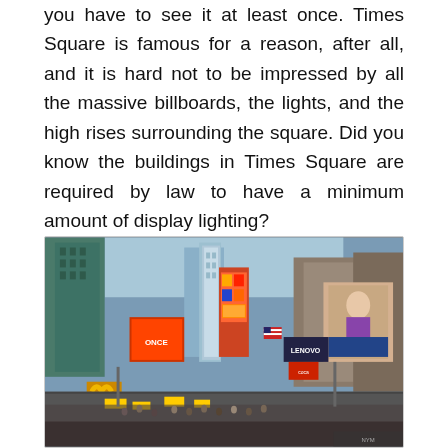you have to see it at least once. Times Square is famous for a reason, after all, and it is hard not to be impressed by all the massive billboards, the lights, and the high rises surrounding the square. Did you know the buildings in Times Square are required by law to have a minimum amount of display lighting?
[Figure (photo): Aerial street-level photograph of Times Square in New York City showing tall skyscrapers, large billboards and digital displays, crowds of people and yellow taxis on the street, a McDonald's sign visible in the lower left, and various advertisements including a Lenovo billboard and a Coca-Cola sign.]